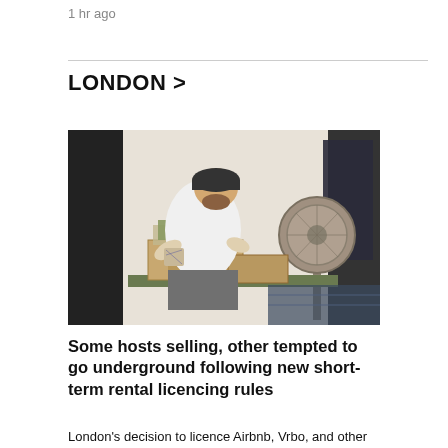1 hr ago
LONDON >
[Figure (photo): A bearded man wearing a white t-shirt, grey shorts and a dark cap bends over a table packing cardboard boxes. A large standing fan is visible to the right, along with a framed artwork on the wall.]
Some hosts selling, other tempted to go underground following new short-term rental licencing rules
London's decision to licence Airbnb, Vrbo, and other shor...